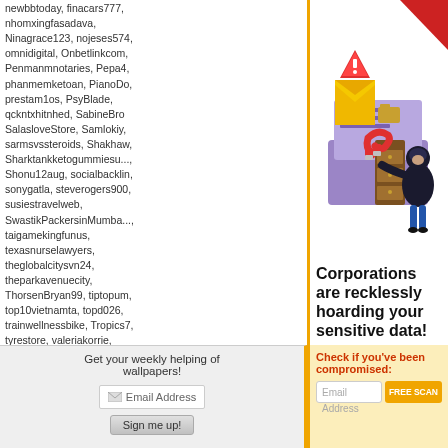newbbtoday, finacars777, nhomxingfasadava, Ninagrace123, nojeses574, omnidigital, Onbetlinkcom, Penmanmnotaries, Pepa4, phanmemketoan, PianoDo, prestam1os, PsyBlade, qckntxhitnhed, SabineBro, SalasloveStore, Samlokiy, sarmsvssteroids, Shakhaw, Sharktankketogummiesu..., Shonu12aug, socialbacklin, sonygatla, steverogers900, susiestravelweb, SwastikPackersinMumba..., taigamekingfunus, texasnurselawyers, theglobalcitysvn24, theparkavenuecity, ThorsenBryan99, tiptopum, top10vietnamta, topd026, trainwellnessbike, Tropics7, tyrestore, valeriakorrie, virtualpangeaseo, vn138bi, w88betfun, xxLuxury777xx
Most users ever online was 150,759 on 9/11/14.
Get your weekly helping of wallpapers!
[Figure (illustration): Cybersecurity illustration showing a hooded hacker figure stealing data from a laptop, with a warning envelope icon containing an exclamation mark]
Corporations are recklessly hoarding your sensitive data!
When they get hacked, you're at risk of identity theft or worse!
Check if you've been compromised:
Email Address  FREE SCAN